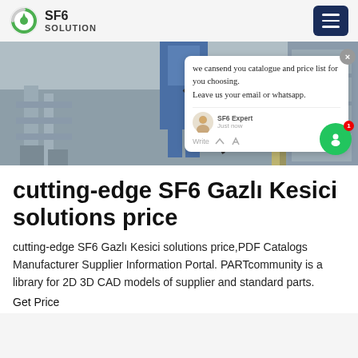SF6 SOLUTION
[Figure (photo): A worker in blue overalls working on electrical SF6 gas switchgear infrastructure outdoors. A chat popup overlay is visible in the bottom-right of the image.]
cutting-edge SF6 Gazlı Kesici solutions price
cutting-edge SF6 Gazlı Kesici solutions price,PDF Catalogs Manufacturer Supplier Information Portal. PARTcommunity is a library for 2D 3D CAD models of supplier and standard parts.
Get Price